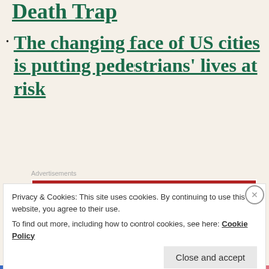Death Trap
The changing face of US cities is putting pedestrians' lives at risk
Advertisements
[Figure (other): Longreads advertisement banner: red background with white border, Longreads logo and tagline 'The best stories on the web – ours, and everyone else's.']
We have had far too many school shootings.
Privacy & Cookies: This site uses cookies. By continuing to use this website, you agree to their use.
To find out more, including how to control cookies, see here: Cookie Policy
Close and accept